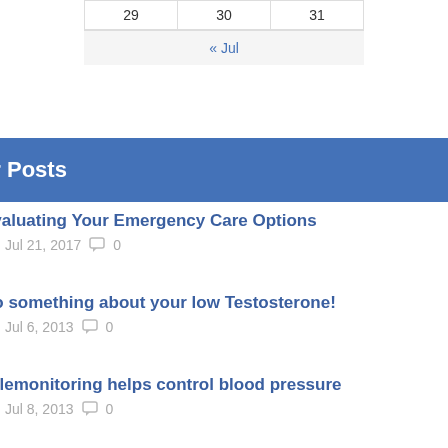| 29 | 30 | 31 |
| « Jul |
Popular Posts
Evaluating Your Emergency Care Options | Jul 21, 2017 | 0
Do something about your low Testosterone! | Jul 6, 2013 | 0
Telemonitoring helps control blood pressure | Jul 8, 2013 | 0
Coffee: Now Reduces Skin Cancer Risk | Jul 9, 2013 | 0